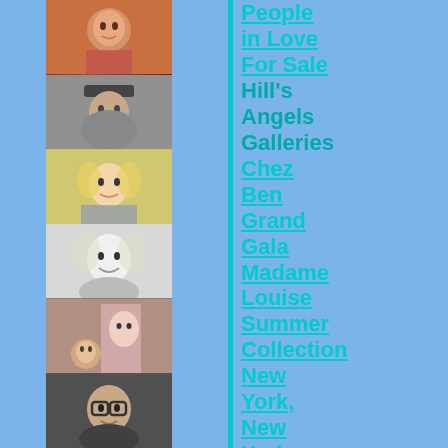[Figure (photo): Column of 6 portrait photos of various people on the left side]
People in Love
For Sale
Hill's Angels
Galleries
Chez Ben
Grand Gala
Madame Louise
Summer Collection
New York, New York
TV Workout
Ease On Down The